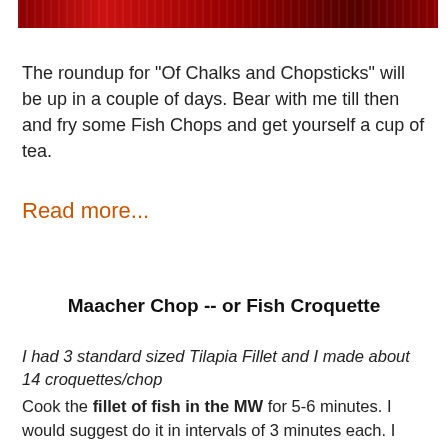[Figure (photo): A dark red/maroon banner image at the top of the page, likely a website header with text and design elements in dark red tones.]
The roundup for "Of Chalks and Chopsticks" will be up in a couple of days. Bear with me till then and fry some Fish Chops and get yourself a cup of tea.
Read more...
Maacher Chop -- or Fish Croquette
I had 3 standard sized Tilapia Fillet and I made about 14 croquettes/chop
Cook the fillet of fish in the MW for 5-6 minutes. I would suggest do it in intervals of 3 minutes each. I had Tilapia fillet which went for a wee bit and then 3 minutes to end up it fal...